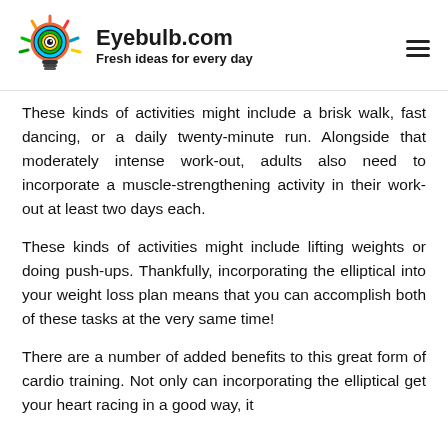[Figure (logo): Eyebulb.com logo: colorful lightbulb icon with eye in center, rays in multiple colors]
Eyebulb.com
Fresh ideas for every day
These kinds of activities might include a brisk walk, fast dancing, or a daily twenty-minute run. Alongside that moderately intense work-out, adults also need to incorporate a muscle-strengthening activity in their work-out at least two days each.
These kinds of activities might include lifting weights or doing push-ups. Thankfully, incorporating the elliptical into your weight loss plan means that you can accomplish both of these tasks at the very same time!
There are a number of added benefits to this great form of cardio training. Not only can incorporating the elliptical get your heart racing in a good way, it